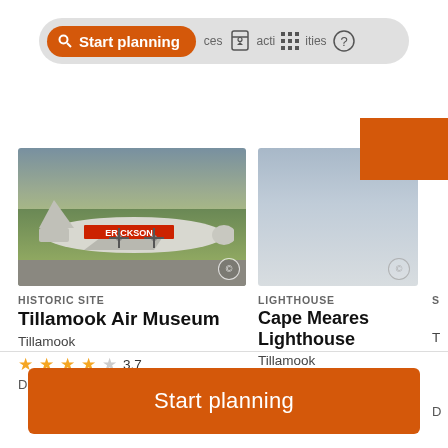[Figure (screenshot): Navigation bar with orange 'Start planning' search button, bookmark icon, grid icon, and help icon on gray pill-shaped background]
[Figure (photo): Erickson Air-Crane propeller airplane on runway with grass field, at Tillamook Air Museum]
HISTORIC SITE
Tillamook Air Museum
Tillamook
3.7
Duration: 1h 30 min
[Figure (photo): Partial photo of Cape Meares Lighthouse with copyright symbol overlay]
LIGHTHOUSE
Cape Meares Lighthouse
Tillamook
4.7
Duration: 2 hours
S
T
D
Start planning